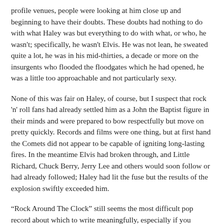profile venues, people were looking at him close up and beginning to have their doubts. These doubts had nothing to do with what Haley was but everything to do with what, or who, he wasn't; specifically, he wasn't Elvis. He was not lean, he sweated quite a lot, he was in his mid-thirties, a decade or more on the insurgents who flooded the floodgates which he had opened, he was a little too approachable and not particularly sexy.
None of this was fair on Haley, of course, but I suspect that rock 'n' roll fans had already settled him as a John the Baptist figure in their minds and were prepared to bow respectfully but move on pretty quickly. Records and films were one thing, but at first hand the Comets did not appear to be capable of igniting long-lasting fires. In the meantime Elvis had broken through, and Little Richard, Chuck Berry, Jerry Lee and others would soon follow or had already followed; Haley had lit the fuse but the results of the explosion swiftly exceeded him.
“Rock Around The Clock” still seems the most difficult pop record about which to write meaningfully, especially if you